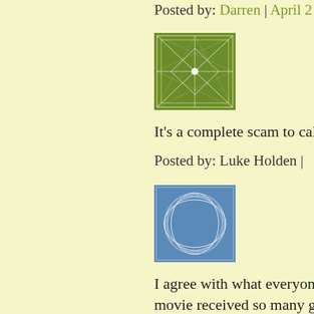Posted by: Darren | April ...
[Figure (illustration): Green geometric decorative square avatar with white line star/web pattern on olive/green background]
It's a complete scam to ca...
Posted by: Luke Holden |
[Figure (illustration): Blue square avatar with white curved overlapping circle/leaf geometric pattern on steel blue background]
I agree with what everyon... movie received so many g... correct these days so lets p... people!! That is so condes... Frannie McDormand take... this "art"? To all the peop... BACKBONE. Stop suckin...